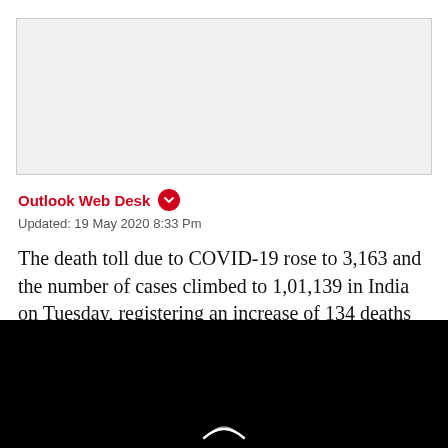[Figure (photo): Gray placeholder image area at the top of the article]
Outlook Web Desk
Updated: 19 May 2020 8:33 Pm
The death toll due to COVID-19 rose to 3,163 and the number of cases climbed to 1,01,139 in India on Tuesday, registering an increase of 134 deaths and 4,970 cases of coronavirus infections in the last 24 hours since Monday 8 am, according to the union health ministry.
[Figure (photo): Black image area at the bottom showing a dark scene with a small bright arc/eclipse shape at the bottom center]